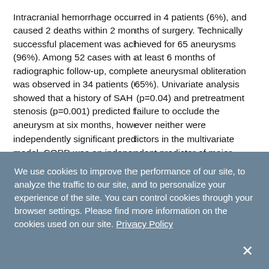Intracranial hemorrhage occurred in 4 patients (6%), and caused 2 deaths within 2 months of surgery. Technically successful placement was achieved for 65 aneurysms (96%). Among 52 cases with at least 6 months of radiographic follow-up, complete aneurysmal obliteration was observed in 34 patients (65%). Univariate analysis showed that a history of SAH (p=0.04) and pretreatment stenosis (p=0.001) predicted failure to occlude the aneurysm at six months, however neither were independently significant predictors in the multivariate model. COPD was an independent predictor of major complications (p=0.04; odds ratio 8.8). COPD and absence of preoperative therapeutic P2Y12 reaction unit (PRU) level were independent
We use cookies to improve the performance of our site, to analyze the traffic to our site, and to personalize your experience of the site. You can control cookies through your browser settings. Please find more information on the cookies used on our site. Privacy Policy